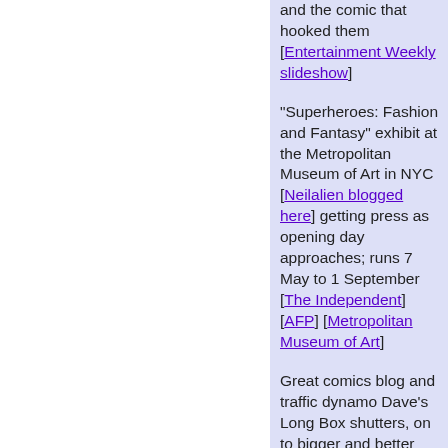and the comic that hooked them [Entertainment Weekly slideshow]
"Superheroes: Fashion and Fantasy" exhibit at the Metropolitan Museum of Art in NYC [Neilalien blogged here] getting press as opening day approaches; runs 7 May to 1 September [The Independent] [AFP] [Metropolitan Museum of Art]
Great comics blog and traffic dynamo Dave's Long Box shutters, on to bigger and better blogging gigs; Neilalien honored as an inspiration [Dave's Long...